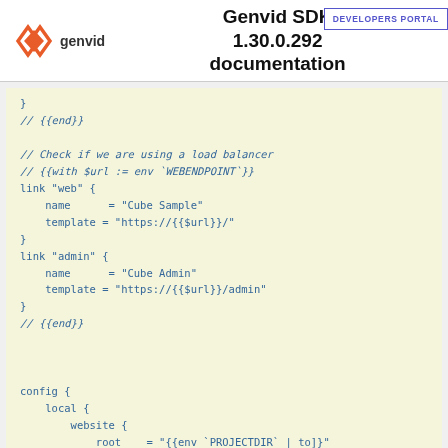Genvid SDK 1.30.0.292 documentation
DEVELOPERS PORTAL
[Figure (screenshot): Code block showing HCL template snippet with link web and link admin blocks using $url variable, and config block with local and website sections]